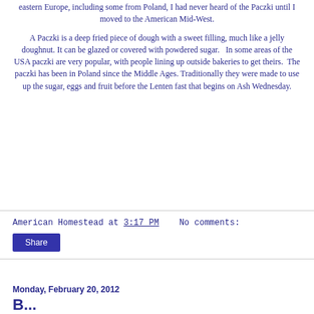eastern Europe, including some from Poland, I had never heard of the Paczki until I moved to the American Mid-West.
A Paczki is a deep fried piece of dough with a sweet filling, much like a jelly doughnut. It can be glazed or covered with powdered sugar.   In some areas of the USA paczki are very popular, with people lining up outside bakeries to get theirs.  The paczki has been in Poland since the Middle Ages. Traditionally they were made to use up the sugar, eggs and fruit before the Lenten fast that begins on Ash Wednesday.
American Homestead at 3:17 PM    No comments:
Share
Monday, February 20, 2012
B...